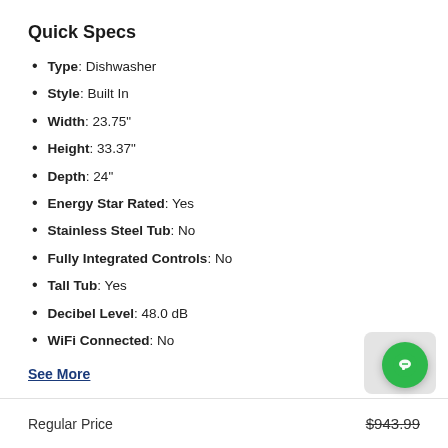Quick Specs
Type: Dishwasher
Style: Built In
Width: 23.75"
Height: 33.37"
Depth: 24"
Energy Star Rated: Yes
Stainless Steel Tub: No
Fully Integrated Controls: No
Tall Tub: Yes
Decibel Level: 48.0 dB
WiFi Connected: No
See More
This item has purchase restrictions. We currently only offer this product for purchase within 40 miles of our store. Questions? Contact us for more information.
Regular Price $943.99